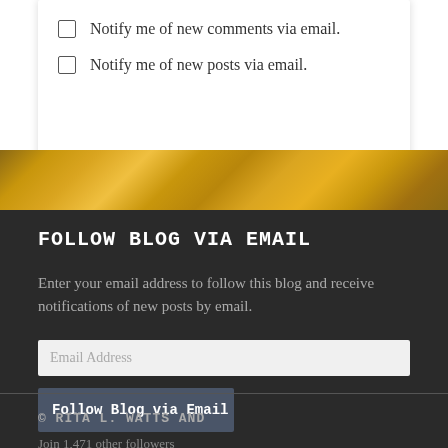Notify me of new comments via email.
Notify me of new posts via email.
FOLLOW BLOG VIA EMAIL
Enter your email address to follow this blog and receive notifications of new posts by email.
Email Address
Follow Blog via Email
Join 1,471 other followers
© RITA L. WATTS AND